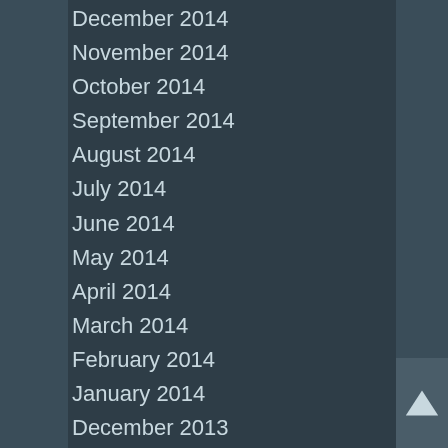December 2014
November 2014
October 2014
September 2014
August 2014
July 2014
June 2014
May 2014
April 2014
March 2014
February 2014
January 2014
December 2013
November 2013
October 2013
September 2013
August 2013
July 2013
June 2013
May 2013
April 2013
March 2013